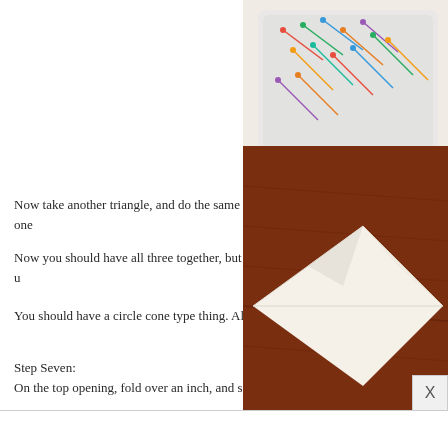[Figure (photo): A plastic container filled with colorful sewing pins on a white fabric background]
Now take another triangle, and do the same thing with one of the other sides of one of your triangles.
Now you should have all three together, but not completed. Now line up the two un...
You should have a circle cone type thing. Almost done!
Step Seven:
On the top opening, fold over an inch, and sew.
[Figure (photo): White fabric folded on a dark red/brown wooden surface]